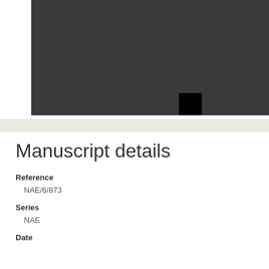[Figure (photo): Dark gray image area with a black square in the lower center portion]
Manuscript details
Reference
NAE/6/873
Series
NAE
Date